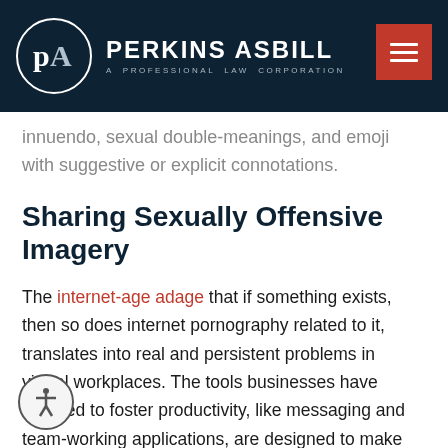[Figure (logo): Perkins Asbill law firm logo with circular PA monogram and firm name on dark navy background header]
innuendo, sexual double-meanings, and emoji with suggestive or explicit connotations.
Sharing Sexually Offensive Imagery
The internet-age adage that if something exists, then so does internet pornography related to it, translates into real and persistent problems in virtual workplaces. The tools businesses have adopted to foster productivity, like messaging and team-working applications, are designed to make sharing imagery effortless. Unfortunately, that means it is also easy for a sexually offensive meme, .gif, video,